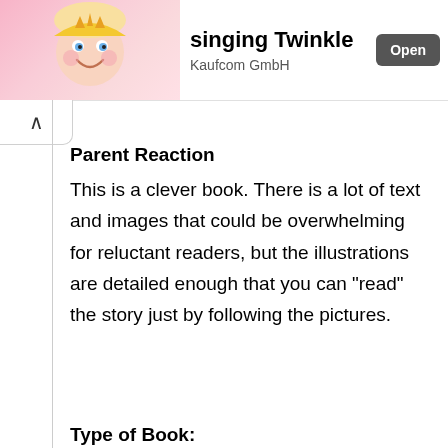[Figure (screenshot): App store banner showing animated cartoon girl character on pink background, with app title 'singing Twinkle', publisher 'Kaufcom GmbH', and an 'Open' button]
Parent Reaction
This is a clever book. There is a lot of text and images that could be overwhelming for reluctant readers, but the illustrations are detailed enough that you can "read" the story just by following the pictures.
Type of Book: